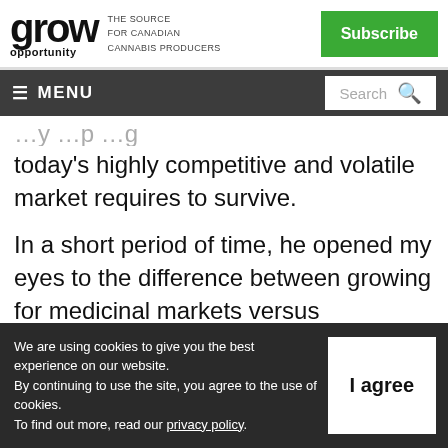grow opportunity – THE SOURCE FOR CANADIAN CANNABIS PRODUCERS
today's highly competitive and volatile market requires to survive.
In a short period of time, he opened my eyes to the difference between growing for medicinal markets versus recreational
We are using cookies to give you the best experience on our website. By continuing to use the site, you agree to the use of cookies. To find out more, read our privacy policy.